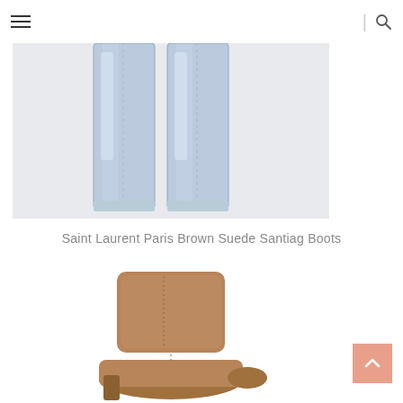≡ | 🔍
[Figure (photo): Two legs wearing light blue washed denim jeans, showing the lower leg panels against a light gray background.]
Saint Laurent Paris Brown Suede Santiag Boots
[Figure (photo): Brown suede ankle boots (Saint Laurent Paris Santiag Boots) shown from the side, partially cropped at the bottom of the page.]